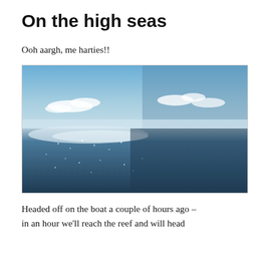On the high seas
Ooh aargh, me harties!!
[Figure (photo): Ocean seascape with deep blue water, sunlight reflecting off the surface, and a blue sky with scattered white clouds near the horizon.]
Headed off on the boat a couple of hours ago – in an hour we'll reach the reef and will head